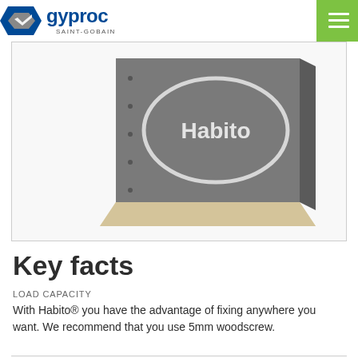[Figure (logo): Gyproc Saint-Gobain logo with blue parallelogram diamond shape and green hamburger menu button]
[Figure (photo): Gyproc Habito plasterboard product shown at an angle, dark grey face with white Habito oval logo, cream-coloured core visible on edge]
Key facts
LOAD CAPACITY
With Habito® you have the advantage of fixing anywhere you want. We recommend that you use 5mm woodscrew.